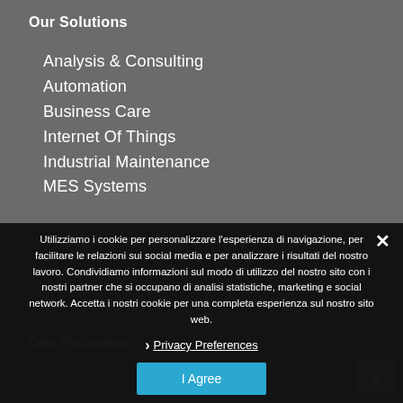Our Solutions
Analysis & Consulting
Automation
Business Care
Internet Of Things
Industrial Maintenance
MES Systems
Utilizziamo i cookie per personalizzare l'esperienza di navigazione, per facilitare le relazioni sui social media e per analizzare i risultati del nostro lavoro. Condividiamo informazioni sul modo di utilizzo del nostro sito con i nostri partner che si occupano di analisi statistiche, marketing e social network. Accetta i nostri cookie per una completa esperienza sul nostro sito web.
Privacy Preferences
I Agree
Data Processing
Privacy Policy